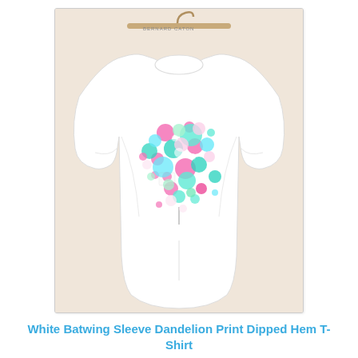[Figure (photo): Product photo of a white batwing-sleeve T-shirt with a colorful dandelion/tree print made of pink, teal, light blue, and mint polka-dot circles on the chest. The shirt is hanging on a wooden hanger against a beige/tan background. The shirt has a round neck, long batwing sleeves, and a dipped/high-low hem.]
White Batwing Sleeve Dandelion Print Dipped Hem T-Shirt